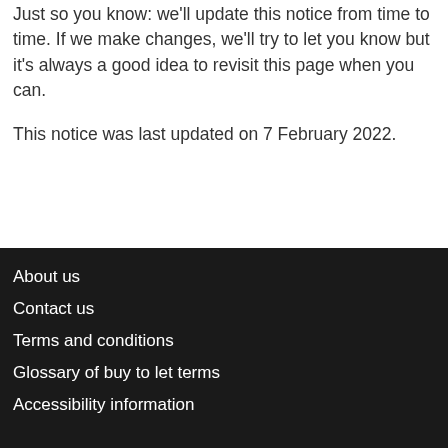Just so you know: we'll update this notice from time to time. If we make changes, we'll try to let you know but it's always a good idea to revisit this page when you can.
This notice was last updated on 7 February 2022.
About us | Contact us | Terms and conditions | Glossary of buy to let terms | Accessibility information